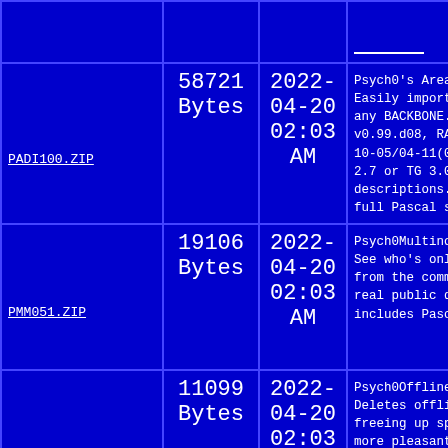| Filename | Size | Date | Description |
| --- | --- | --- | --- |
| PADI100.ZIP | 58721 Bytes | 2022-04-20 02:03 AM | Psych0's AreaafixDe: Easily import new a any BACKBONE.NA-sty v0.99.d08, RA 2.0x. 10-05/04-11(05-11). 2.7 or TG 3.00 BBS descriptions. Now full Pascal source |
| PMM051.ZIP | 19106 Bytes | 2022-04-20 02:03 AM | Psych0MultinodeMess See who's online an from the command-li real public domain includes Pascal so |
| POFD090.ZIP | 11099 Bytes | 2022-04-20 02:03 AM | Psych0OfflinFileDe Deletes offline fi freeing up space an more pleasant. |